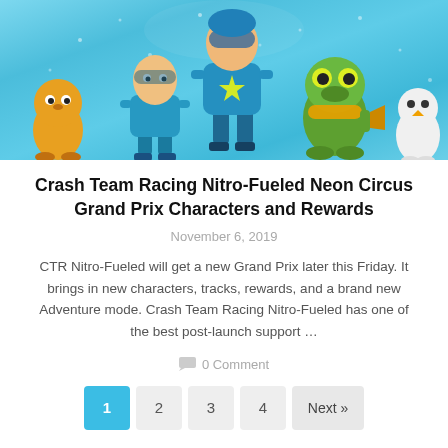[Figure (illustration): Hero image showing Crash Team Racing Nitro-Fueled characters on a blue background. Several animated characters including racers in colorful costumes standing against a light blue sparkly background.]
Crash Team Racing Nitro-Fueled Neon Circus Grand Prix Characters and Rewards
November 6, 2019
CTR Nitro-Fueled will get a new Grand Prix later this Friday. It brings in new characters, tracks, rewards, and a brand new Adventure mode. Crash Team Racing Nitro-Fueled has one of the best post-launch support …
0 Comment
1  2  3  4  Next »